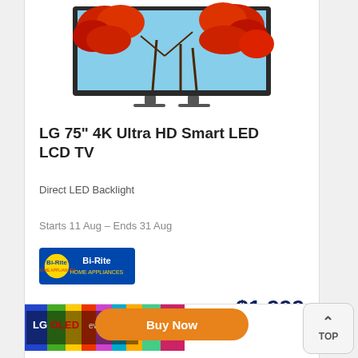[Figure (photo): LG 75-inch 4K Ultra HD Smart LED LCD TV product image showing a TV with red autumn tree foliage displayed on screen]
LG 75" 4K Ultra HD Smart LED LCD TV
Direct LED Backlight
Starts 11 Aug – Ends 31 Aug
[Figure (logo): Bi-Rite Home Appliances logo — blue rectangle with yellow circle and blue text]
$1,999
Buy Now
[Figure (photo): LG OLED evo TV product image (partial, bottom of page)]